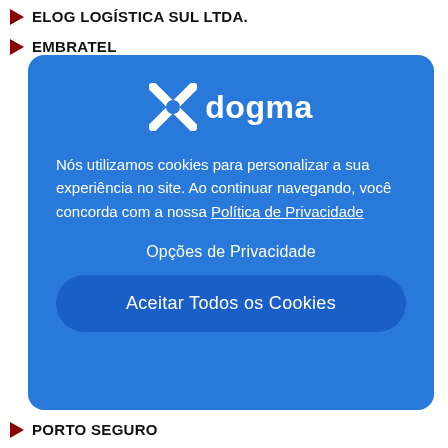ELOG LOGÍSTICA SUL LTDA.
EMBRATEL
[Figure (screenshot): Dogma cookie consent modal dialog with blue background, showing the Dogma logo (X icon + 'dogma' text), cookie usage notice in Portuguese, 'Opções de Privacidade' link, and 'Aceitar Todos os Cookies' button.]
PORTO SEGURO